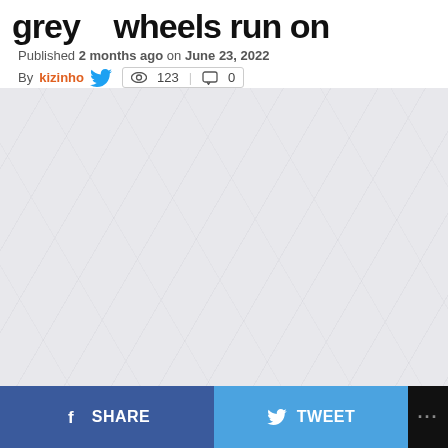grey   wheels run on
Published 2 months ago on June 23, 2022
By kizinho  123  0
[Figure (photo): Large image area with light grey textured background, partially visible automotive/wheel photo]
SHARE  TWEET  ...